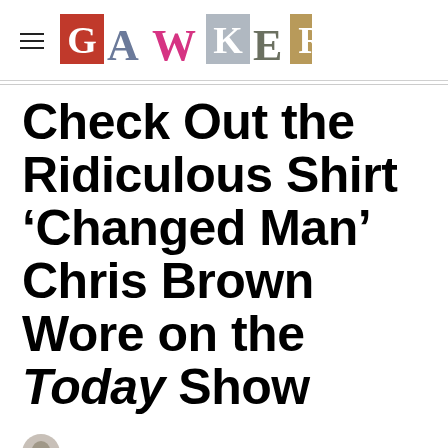GAWKER
Check Out the Ridiculous Shirt 'Changed Man' Chris Brown Wore on the Today Show
Rich Juzwiak  81.39K